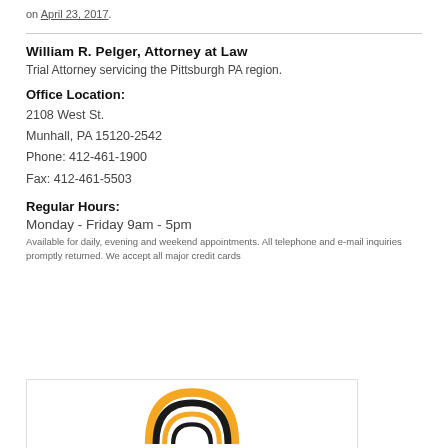on April 23, 2017.
William R. Pelger, Attorney at Law
Trial Attorney servicing the Pittsburgh PA region.
Office Location:
2108 West St.
Munhall, PA 15120-2542
Phone: 412-461-1900
Fax: 412-461-5503
Regular Hours:
Monday - Friday 9am - 5pm
Available for daily, evening and weekend appointments. All telephone and e-mail inquiries promptly returned. We accept all major credit cards
[Figure (logo): Circular logo with orange and black concentric arcs — partial view at bottom of page]